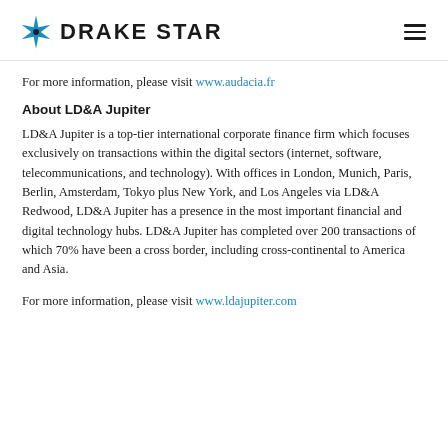DRAKE STAR
For more information, please visit www.audacia.fr
About LD&A Jupiter
LD&A Jupiter is a top-tier international corporate finance firm which focuses exclusively on transactions within the digital sectors (internet, software, telecommunications, and technology). With offices in London, Munich, Paris, Berlin, Amsterdam, Tokyo plus New York, and Los Angeles via LD&A Redwood, LD&A Jupiter has a presence in the most important financial and digital technology hubs. LD&A Jupiter has completed over 200 transactions of which 70% have been a cross border, including cross-continental to America and Asia.
For more information, please visit www.ldajupiter.com